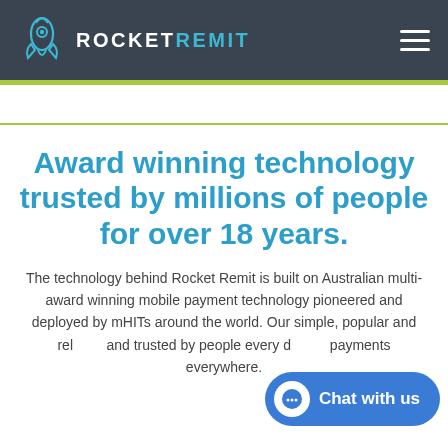ROCKET REMIT
Award winning technology trusted by millions of people for over 18 years.
The technology behind Rocket Remit is built on Australian multi-award winning mobile payment technology pioneered and deployed by mHITs around the world. Our simple, popular and reliable payments everywhere.